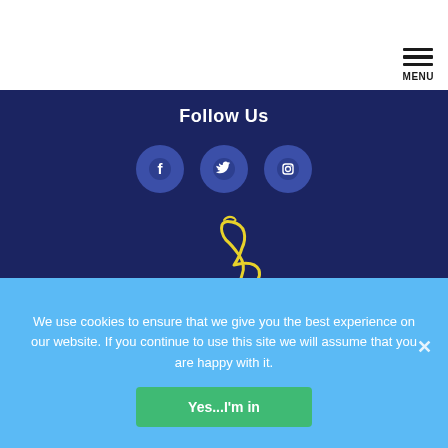MENU
Follow Us
[Figure (illustration): Three social media icons (Facebook, Twitter, Instagram) as white circles on dark blue background]
[Figure (logo): Happy Valley Equestrian logo — yellow horse silhouette with yellow script text 'Happy Valley Equestrian' on dark navy background]
We use cookies to ensure that we give you the best experience on our website. If you continue to use this site we will assume that you are happy with it.
Yes...I'm in